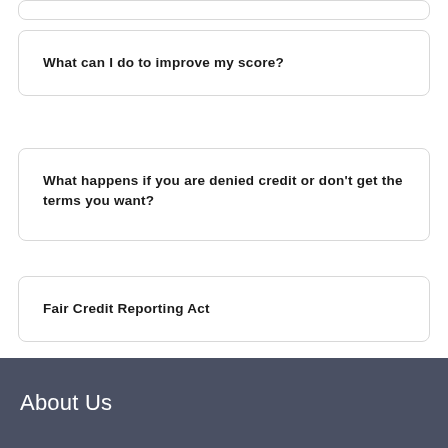What can I do to improve my score?
What happens if you are denied credit or don't get the terms you want?
Fair Credit Reporting Act
About Us